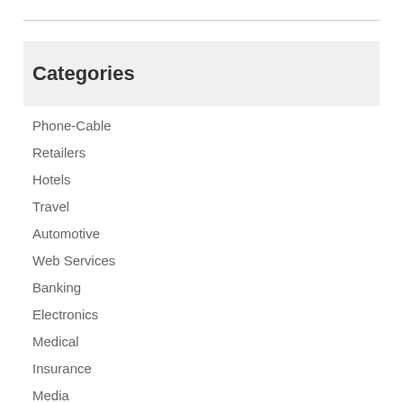Categories
Phone-Cable
Retailers
Hotels
Travel
Automotive
Web Services
Banking
Electronics
Medical
Insurance
Media
Power
Government
Internet
Restaurants
Apparel